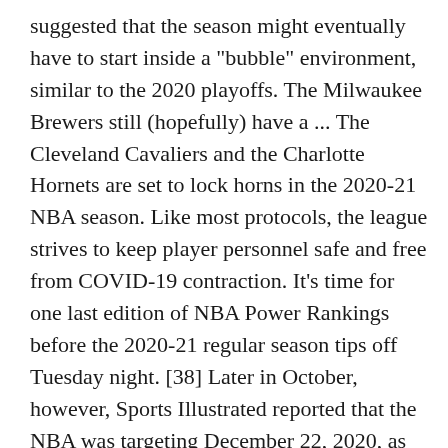suggested that the season might eventually have to start inside a "bubble" environment, similar to the 2020 playoffs. The Milwaukee Brewers still (hopefully) have a ... The Cleveland Cavaliers and the Charlotte Hornets are set to lock horns in the 2020-21 NBA season. Like most protocols, the league strives to keep player personnel safe and free from COVID-19 contraction. It's time for one last edition of NBA Power Rankings before the 2020-21 regular season tips off Tuesday night. [38] Later in October, however, Sports Illustrated reported that the NBA was targeting December 22, 2020, as the first day of the season. [34][35] The NBA is also contemplating organizing the